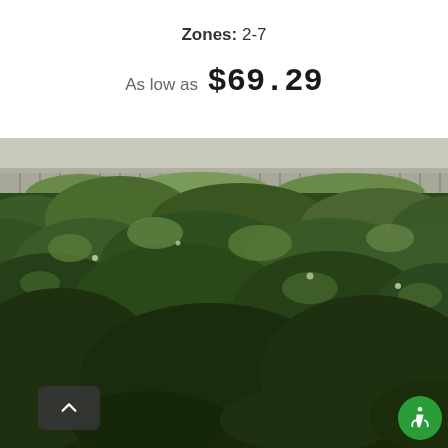Zones: 2-7
As low as  $69.29
[Figure (photo): Dense green leafy plants/shrubs growing in a greenhouse or nursery setting, with a greenhouse structure visible in the background. Plants appear to be shrubs with dark green leaves filling the frame.]